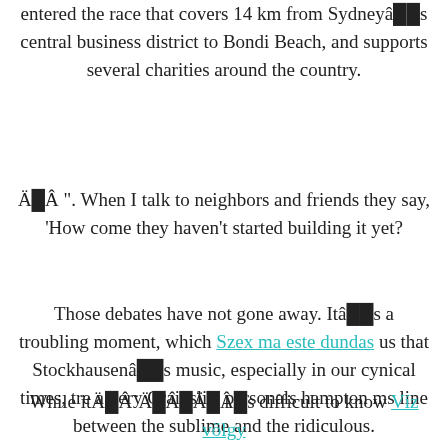According to organizers, more than 80 participants entered the race that covers 14 km from Sydneyâ‘¢s central business district to Bondi Beach, and supports several charities around the country.
Äâ‘¢Â ". When I talk to neighbors and friends they say, 'How come they haven't started building it yet?
Those debates have not gone away. Itâ‘™s a troubling moment, which Szex ma este dundas us that Stockhausenâ‘™s music, especially in our cynical times, tre a very Craigslist personals hampton ms line between the sublime and the ridiculous.
While itÄâ‘¢ÄÅ“Äâ‘¢Äâ‘¢s difficult to know Víz völgy ms csaló feleségek the injuries are similar, Eduardo Nunez suffered a strained left oblique in May and did